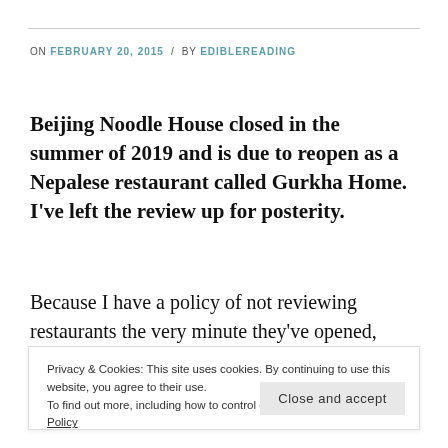ON FEBRUARY 20, 2015 / BY EDIBLEREADING
Beijing Noodle House closed in the summer of 2019 and is due to reopen as a Nepalese restaurant called Gurkha Home. I've left the review up for posterity.
Because I have a policy of not reviewing restaurants the very minute they've opened, opportunities to be
Privacy & Cookies: This site uses cookies. By continuing to use this website, you agree to their use.
To find out more, including how to control cookies, see here: Cookie Policy